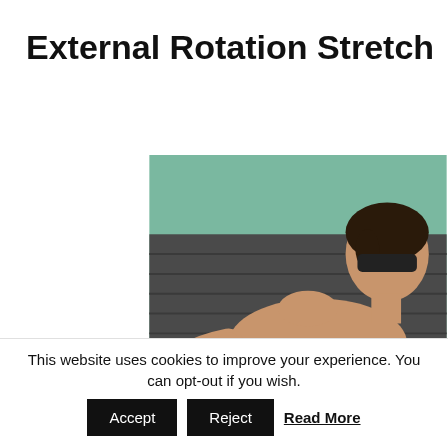External Rotation Stretch
[Figure (photo): A person lying on a treatment table while a therapist performs an external rotation stretch on the patient's arm/shoulder.]
The muscles of the rotator cuff such as the subscapularis should be stretched prior to activities involving overhead movements such as throwing and racket sports.
This website uses cookies to improve your experience. You can opt-out if you wish. Accept Reject Read More